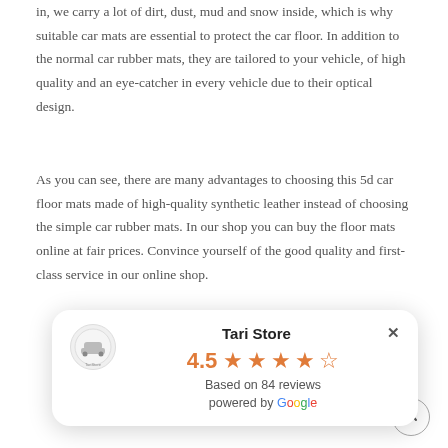in, we carry a lot of dirt, dust, mud and snow inside, which is why suitable car mats are essential to protect the car floor. In addition to the normal car rubber mats, they are tailored to your vehicle, of high quality and an eye-catcher in every vehicle due to their optical design.
As you can see, there are many advantages to choosing this 5d car floor mats made of high-quality synthetic leather instead of choosing the simple car rubber mats. In our shop you can buy the floor mats online at fair prices. Convince yourself of the good quality and first-class service in our online shop.
ed quickly. ufacturing and this.
[Figure (screenshot): A Google review popup card for 'Tari Store' showing a rating of 4.5 stars based on 84 reviews, with a store logo and 'powered by Google' text. A close (X) button is in the top right.]